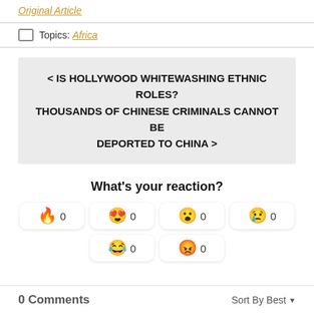Original Article
Topics: Africa
< IS HOLLYWOOD WHITEWASHING ETHNIC ROLES? THOUSANDS OF CHINESE CRIMINALS CANNOT BE DEPORTED TO CHINA >
What's your reaction?
🔥 0   😍 0   😮 0   😢 0   😂 0   😡 0
0 Comments   Sort By Best